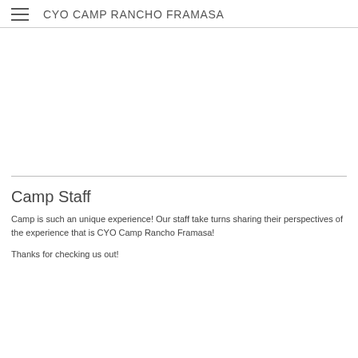CYO CAMP RANCHO FRAMASA
[Figure (photo): Large image area, appears blank/white in this view]
Camp Staff
Camp is such an unique experience! Our staff take turns sharing their perspectives of the experience that is CYO Camp Rancho Framasa!
Thanks for checking us out!